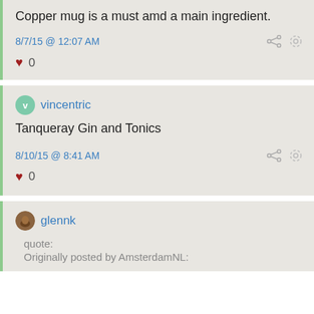Copper mug is a must amd a main ingredient.
8/7/15 @ 12:07 AM
0
vincentric
Tanqueray Gin and Tonics
8/10/15 @ 8:41 AM
0
glennk
quote:
Originally posted by AmsterdamNL: